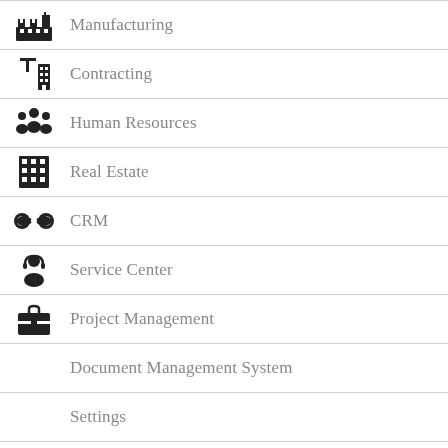Manufacturing
Contracting
Human Resources
Real Estate
CRM
Service Center
Project Management
Document Management System
Settings